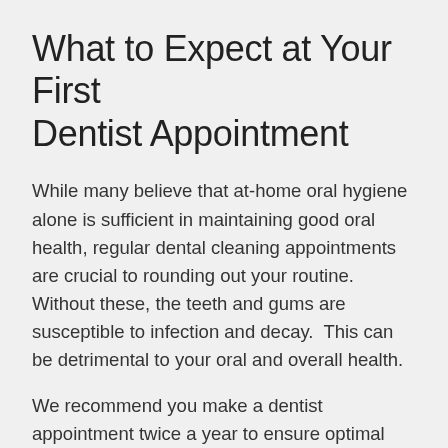What to Expect at Your First Dentist Appointment
While many believe that at-home oral hygiene alone is sufficient in maintaining good oral health, regular dental cleaning appointments are crucial to rounding out your routine. Without these, the teeth and gums are susceptible to infection and decay.  This can be detrimental to your oral and overall health.
We recommend you make a dentist appointment twice a year to ensure optimal oral health, but patients that are more susceptible to gum disease or cavities should consider more frequent visits.
Contact Chestnut Hills Dental N. Huntingdon in